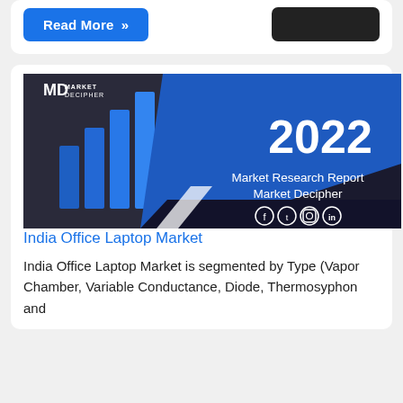Read More »
[Figure (illustration): Market Decipher 2022 Market Research Report cover image with blue bar chart graphics, social media icons, and branding.]
India Office Laptop Market
India Office Laptop Market is segmented by Type (Vapor Chamber, Variable Conductance, Diode, Thermosyphon and